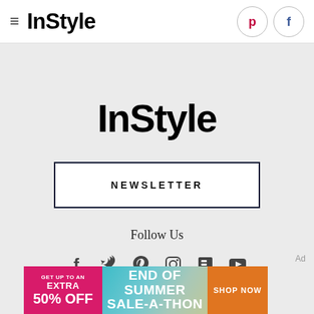InStyle
InStyle
NEWSLETTER
Follow Us
[Figure (illustration): Social media icons: Facebook, Twitter, Pinterest, Instagram, Flipboard, YouTube]
[Figure (illustration): Advertisement banner: GET UP TO AN EXTRA 50% OFF | END OF SUMMER SALE-A-THON | SHOP NOW]